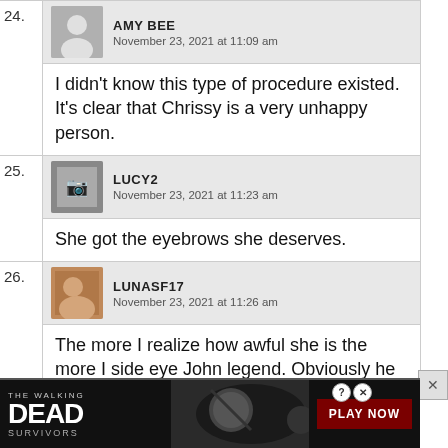24. AMY BEE — November 23, 2021 at 11:09 am — I didn't know this type of procedure existed. It's clear that Chrissy is a very unhappy person.
25. LUCY2 — November 23, 2021 at 11:23 am — She got the eyebrows she deserves.
26. LUNASF17 — November 23, 2021 at 11:26 am — The more I realize how awful she is the more I side eye John legend. Obviously he supports her lifestyle (at least financially) and is ok with all her crap. Maybe he isn't the good guy he comes across as. I don't see how a decent